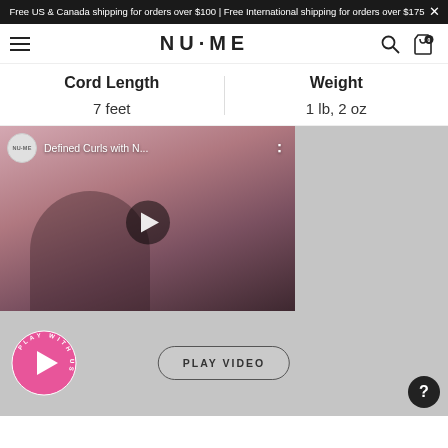Free US & Canada shipping for orders over $100 | Free International shipping for orders over $175
[Figure (logo): NuMe brand logo with hamburger menu, search icon, and cart icon]
| Cord Length | Weight |
| --- | --- |
| 7 feet | 1 lb, 2 oz |
[Figure (screenshot): YouTube video thumbnail showing 'Defined Curls with N...' with play button, person using hair tool on pink background]
[Figure (infographic): Pink circular play badge and PLAY VIDEO button with help circle icon]